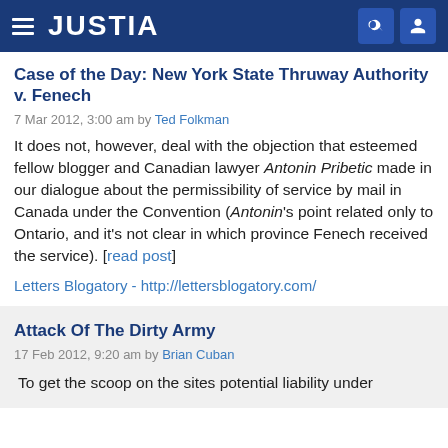JUSTIA
Case of the Day: New York State Thruway Authority v. Fenech
7 Mar 2012, 3:00 am by Ted Folkman
It does not, however, deal with the objection that esteemed fellow blogger and Canadian lawyer Antonin Pribetic made in our dialogue about the permissibility of service by mail in Canada under the Convention (Antonin's point related only to Ontario, and it's not clear in which province Fenech received the service). [read post]
Letters Blogatory - http://lettersblogatory.com/
Attack Of The Dirty Army
17 Feb 2012, 9:20 am by Brian Cuban
To get the scoop on the sites potential liability under